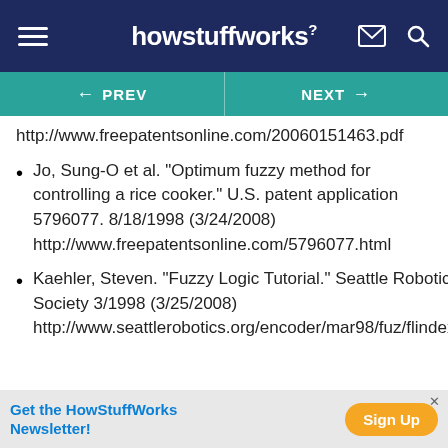howstuffworks
← PREV   NEXT →
http://www.freepatentsonline.com/20060151463.pdf
Jo, Sung-O et al. "Optimum fuzzy method for controlling a rice cooker." U.S. patent application 5796077. 8/18/1998 (3/24/2008) http://www.freepatentsonline.com/5796077.html
Kaehler, Steven. "Fuzzy Logic Tutorial." Seattle Robotics Society 3/1998 (3/25/2008) http://www.seattlerobotics.org/encoder/mar98/fuz/flindex.html
Get the HowStuffWorks Newsletter! Sign Up